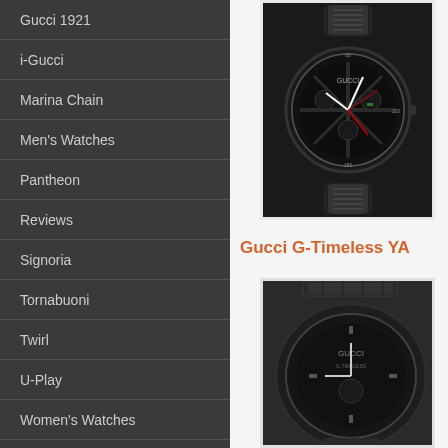Gucci 1921
i-Gucci
Marina Chain
Men's Watches
Pantheon
Reviews
Signoria
Tornabuoni
Twirl
U-Play
Women's Watches
[Figure (photo): Black Gucci watch with sport chronograph face, green and red accents, rubber strap, viewed from front angle against dark background]
Gucci G-Timeless YA
[Figure (photo): Black Gucci G-Timeless watch with metal bracelet, partially visible, dark grey face]